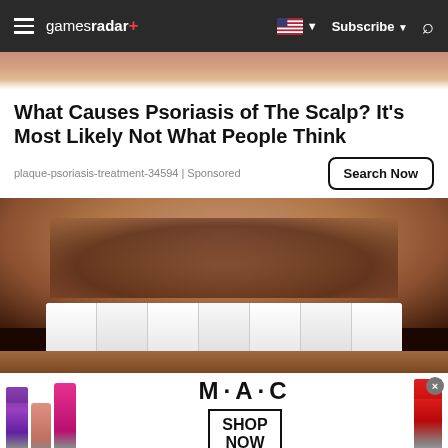gamesradar+ | Subscribe | Search
[Figure (photo): Top portion of a person's body, cropped]
What Causes Psoriasis of The Scalp? It's Most Likely Not What People Think
plaque-psoriasis-treatment-34594 | Sponsored
Search Now
[Figure (photo): Close-up of a man's lower face showing stubble beard and very white bright teeth/dental veneers]
[Figure (photo): MAC cosmetics advertisement showing lipsticks in purple, pink, coral colors with MAC logo and SHOP NOW text box]